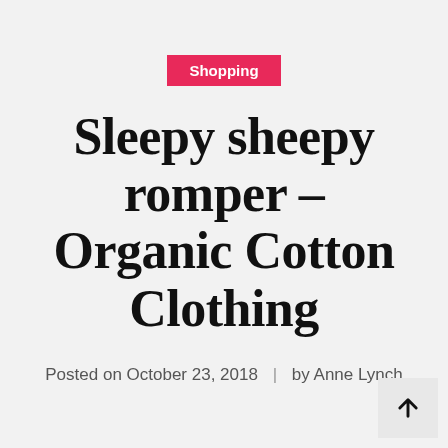Shopping
Sleepy sheepy romper – Organic Cotton Clothing
Posted on October 23, 2018  |  by Anne Lynch